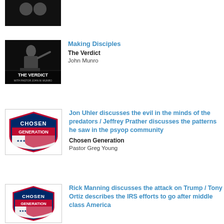[Figure (photo): Partially cropped image at top of page, dark background]
[Figure (photo): The Verdict podcast thumbnail - pastor John M. Munro at podium with text THE VERDICT]
Making Disciples
The Verdict
John Munro
[Figure (logo): Chosen Generation logo - shield with red/white/blue design and American flag]
Jon Uhler discusses the evil in the minds of the predators / Jeffrey Prather discusses the patterns he saw in the psyop community
Chosen Generation
Pastor Greg Young
[Figure (logo): Chosen Generation logo - shield with red/white/blue design and American flag]
Rick Manning discusses the attack on Trump / Tony Ortiz describes the IRS efforts to go after middle class America